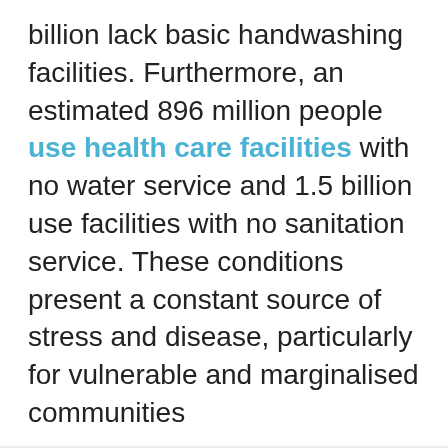billion lack basic handwashing facilities. Furthermore, an estimated 896 million people use health care facilities with no water service and 1.5 billion use facilities with no sanitation service. These conditions present a constant source of stress and disease, particularly for vulnerable and marginalised communities
We use cookies
We use cookies and other tracking technologies to improve your browsing experience on our website, to show you personalized content and targeted ads, to analyze our website traffic, and to understand where our visitors are coming from.